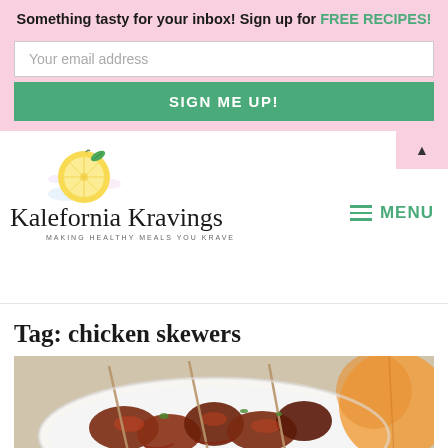Something tasty for your inbox! Sign up for FREE RECIPES!
Your email address
SIGN ME UP!
[Figure (logo): Kalefornia Kravings logo with lemon illustration and cursive text, tagline: MAKING HEALTHY MEALS YOU KRAVE]
MENU
Tag: chicken skewers
[Figure (photo): BBQ chicken skewers on a white plate with glazed sauce and herbs, peach in background]